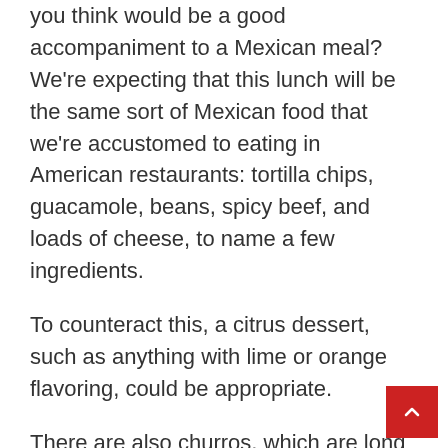you think would be a good accompaniment to a Mexican meal? We're expecting that this lunch will be the same sort of Mexican food that we're accustomed to eating in American restaurants: tortilla chips, guacamole, beans, spicy beef, and loads of cheese, to name a few ingredients.
To counteract this, a citrus dessert, such as anything with lime or orange flavoring, could be appropriate.
There are also churros, which are long Spanish doughnuts that are also popular in Mexico, and sopaipillas, which are similar to beignets in flavor and appearance.
Our Best Lick's Rosemary Lime Sparkle Ice Cream is delicious!